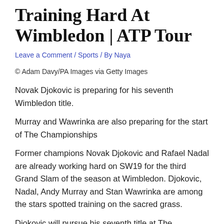Training Hard At Wimbledon | ATP Tour
Leave a Comment / Sports / By Naya
© Adam Davy/PA Images via Getty Images
Novak Djokovic is preparing for his seventh Wimbledon title.
Murray and Wawrinka are also preparing for the start of The Championships
Former champions Novak Djokovic and Rafael Nadal are already working hard on SW19 for the third Grand Slam of the season at Wimbledon. Djokovic, Nadal, Andy Murray and Stan Wawrinka are among the stars spotted training on the sacred grass.
Djokovic will pursue his seventh title at The Championships,